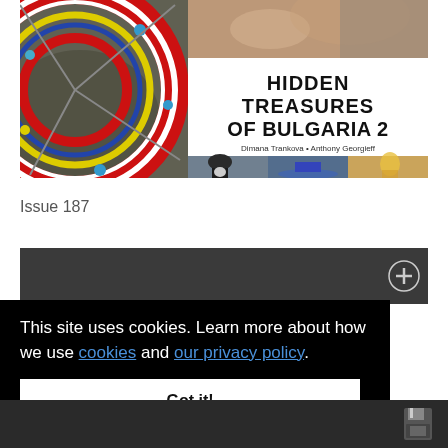[Figure (photo): Book cover for 'Hidden Treasures of Bulgaria 2' by Dimana Trankova and Anthony Georgieff. Left side shows a colorful red/white/yellow decorative wheel pattern on a dark rocky background. Top right shows a close-up of hands on rock. Middle right shows white background with bold title text. Bottom right shows three small photos: an elderly Orthodox monk with white beard, a blue boat, and a colorful religious fresco with yellow figure.]
Issue 187
This site uses cookies. Learn more about how we use cookies and our privacy policy.
Got it!